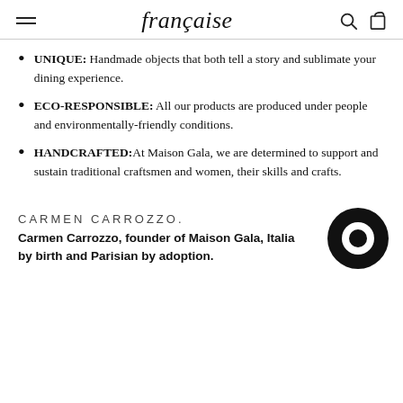française
UNIQUE: Handmade objects that both tell a story and sublimate your dining experience.
ECO-RESPONSIBLE: All our products are produced under people and environmentally-friendly conditions.
HANDCRAFTED:At Maison Gala, we are determined to support and sustain traditional craftsmen and women, their skills and crafts.
CARMEN CARROZZO.
Carmen Carrozzo, founder of Maison Gala, Italian by birth and Parisian by adoption.